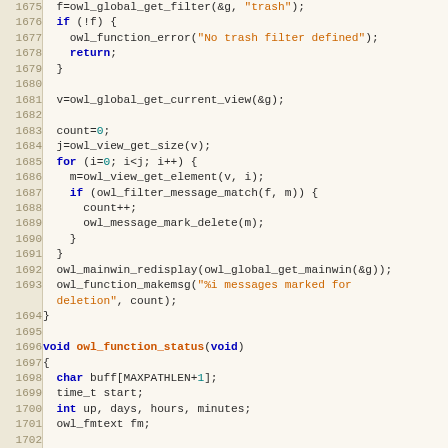[Figure (screenshot): Source code listing in C, lines 1675–1706, showing owl_function_trash and owl_function_status functions with syntax highlighting. Line numbers in left gutter, keywords in blue/bold, string literals in orange, numeric literals in teal.]